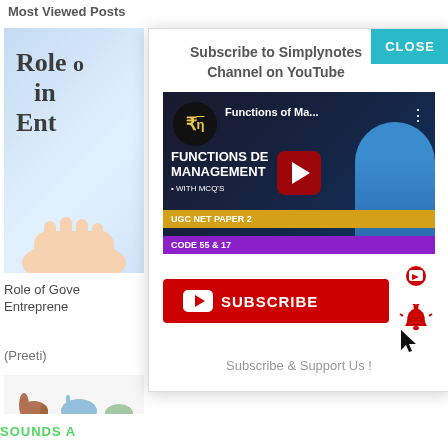Most Viewed Posts
[Figure (photo): Book cover partially visible showing 'Role of... in... Ent...' text on blue background with hand]
Role of Gove... Entreprene...
(Preeti)
[Figure (photo): Animal illustrations at the bottom left]
Subscribe to Simplynotes Channel on YouTube
[Figure (screenshot): YouTube video thumbnail showing Functions of Management with UGC NET Paper 2 Code 55 & 17]
[Figure (infographic): Red YouTube Subscribe button with bell notification icon and cursor]
Subscribe & Support Us !